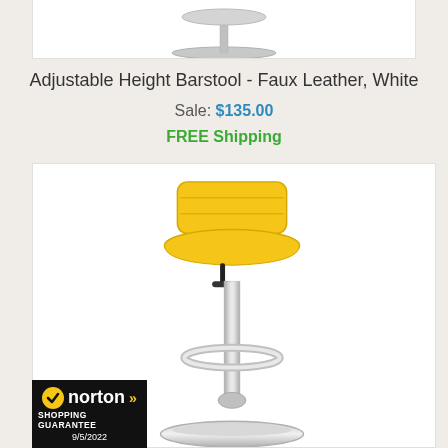[Figure (photo): Top portion of a white adjustable height barstool showing the seat and chrome base, partially visible at the top of the page]
Adjustable Height Barstool - Faux Leather, White
Sale: $135.00
FREE Shipping
[Figure (photo): Yellow adjustable height barstool with faux leather seat, chrome pedestal base, and footrest ring, shown on white background]
[Figure (logo): Norton Shopping Guarantee badge dated 9/5/2022]